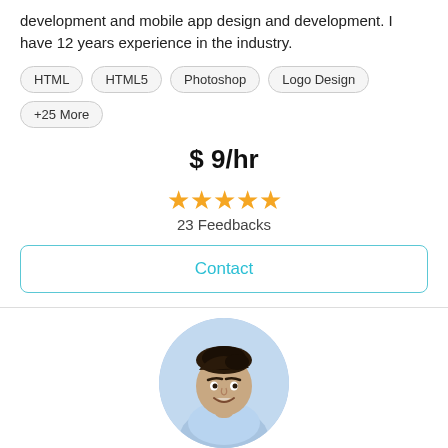development and mobile app design and development. I have 12 years experience in the industry.
HTML
HTML5
Photoshop
Logo Design
+25 More
$ 9/hr
★★★★★ 23 Feedbacks
Contact
[Figure (photo): Profile photo of Subhajit Ghosh, a young man smiling, wearing a light blue shirt]
Subhajit Ghosh
🇮🇳 Kolkata, India  👤  🕐 14 minutes ago
Full Stack Web Development | MERN Stack | Web Desig...